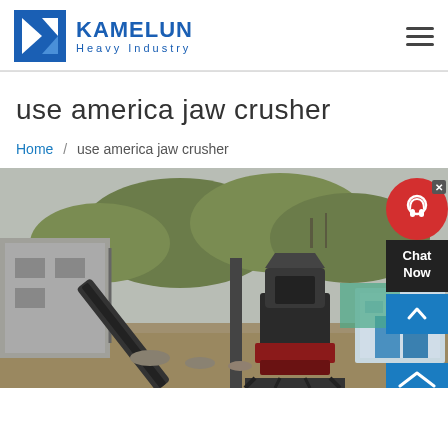KAMELUN Heavy Industry
use america jaw crusher
Home / use america jaw crusher
[Figure (photo): Industrial jaw crusher equipment at a mining or quarry site, showing a conveyor belt, crusher machinery, concrete structures, trees in the background, and a small building with turquoise/green netting.]